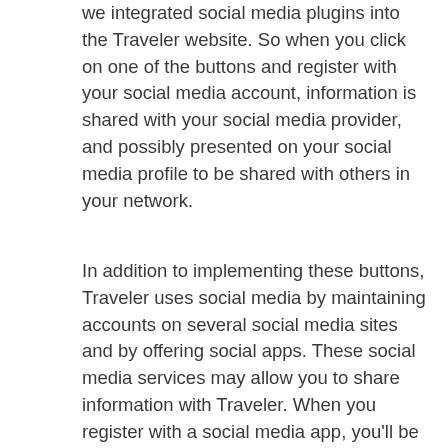we integrated social media plugins into the Traveler website. So when you click on one of the buttons and register with your social media account, information is shared with your social media provider, and possibly presented on your social media profile to be shared with others in your network.
In addition to implementing these buttons, Traveler uses social media by maintaining accounts on several social media sites and by offering social apps. These social media services may allow you to share information with Traveler. When you register with a social media app, you'll be told which information will be shared withTraveler. The information you choose to share with us may include the basic information